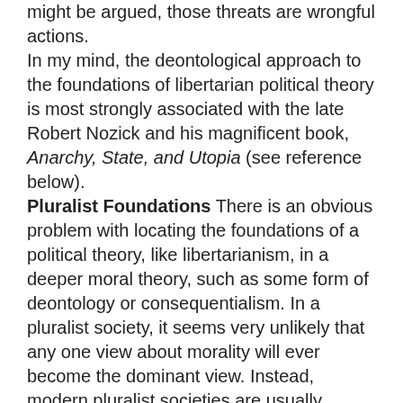might be argued, those threats are wrongful actions. In my mind, the deontological approach to the foundations of libertarian political theory is most strongly associated with the late Robert Nozick and his magnificent book, Anarchy, State, and Utopia (see reference below). Pluralist Foundations There is an obvious problem with locating the foundations of a political theory, like libertarianism, in a deeper moral theory, such as some form of deontology or consequentialism. In a pluralist society, it seems very unlikely that any one view about morality will ever become the dominant view. Instead, modern pluralist societies are usually characterized by persistent disagreements about deep moral